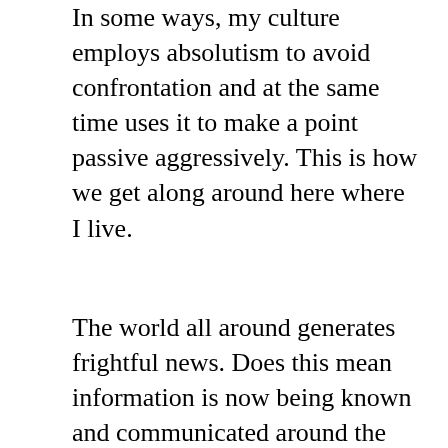In some ways, my culture employs absolutism to avoid confrontation and at the same time uses it to make a point passive aggressively. This is how we get along around here where I live.
The world all around generates frightful news. Does this mean information is now being known and communicated around the planet more comprehensively than at any other time in human history, allowing that upheavals, mayhem and catastrophe, evil and injustice occurred all the time, all along, as they say largely unreported?  Underreported.  Global media truly democratizes information even as it spreads misinformation and disinformation at the same time, it offers equal opportunity